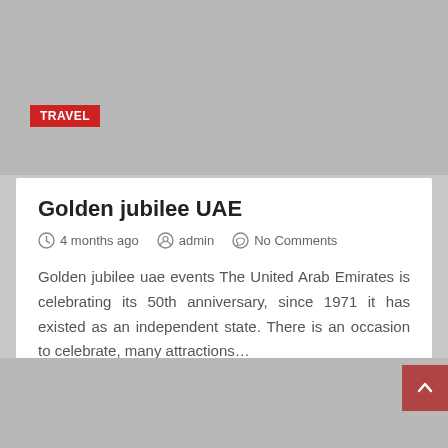[Figure (photo): Gray placeholder image area at top of page with a TRAVEL badge label]
Golden jubilee UAE
4 months ago   admin   No Comments
Golden jubilee uae events The United Arab Emirates is celebrating its 50th anniversary, since 1971 it has existed as an independent state. There is an occasion to celebrate, many attractions…
[Figure (photo): Gray placeholder image area at bottom of page with a scroll-to-top button]